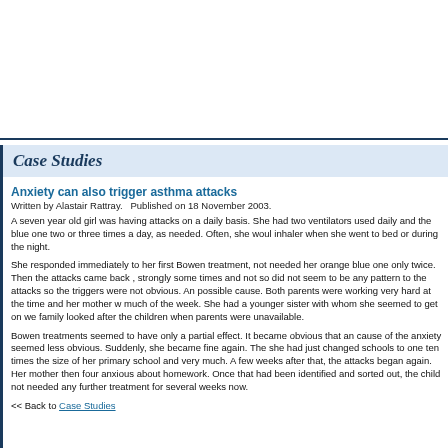Case Studies
Anxiety can also trigger asthma attacks
Written by Alastair Rattray.   Published on 18 November 2003.
A seven year old girl was having attacks on a daily basis. She had two ventilators used daily and the blue one two or three times a day, as needed. Often, she would inhaler when she went to bed or during the night.
She responded immediately to her first Bowen treatment, not needed her orange blue one only twice. Then the attacks came back , strongly some times and not so did not seem to be any pattern to the attacks so the triggers were not obvious. An possible cause. Both parents were working very hard at the time and her mother w much of the week. She had a younger sister with whom she seemed to get on we family looked after the children when parents were unavailable.
Bowen treatments seemed to have only a partial effect. It became obvious that an cause of the anxiety seemed less obvious. Suddenly, she became fine again. The she had just changed schools to one ten times the size of her primary school and very much. A few weeks after that, the attacks began again. Her mother then four anxious about homework. Once that had been identified and sorted out, the child not needed any further treatment for several weeks now.
<< Back to Case Studies